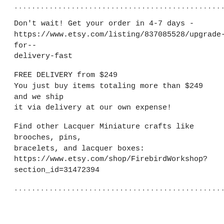................................................................................
Don't wait! Get your order in 4-7 days - https://www.etsy.com/listing/837085528/upgrade-for--delivery-fast
FREE DELIVERY from $249
You just buy items totaling more than $249 and we ship it via delivery at our own expense!
Find other Lacquer Miniature crafts like brooches, pins, bracelets, and lacquer boxes: https://www.etsy.com/shop/FirebirdWorkshop?section_id=31472394
................................................................................